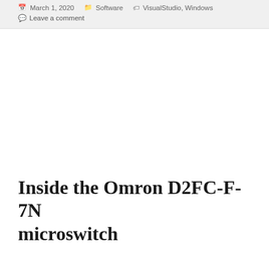March 1, 2020  Software  VisualStudio, Windows  Leave a comment
Inside the Omron D2FC-F-7N microswitch